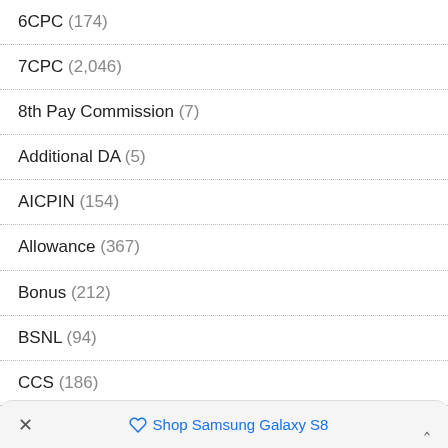6CPC (174)
7CPC (2,046)
8th Pay Commission (7)
Additional DA (5)
AICPIN (154)
Allowance (367)
Bonus (212)
BSNL (94)
CCS (186)
Central Government Jobs (179)
Central Govt Holiday Homes (5)
× Shop Samsung Galaxy S8 ˄